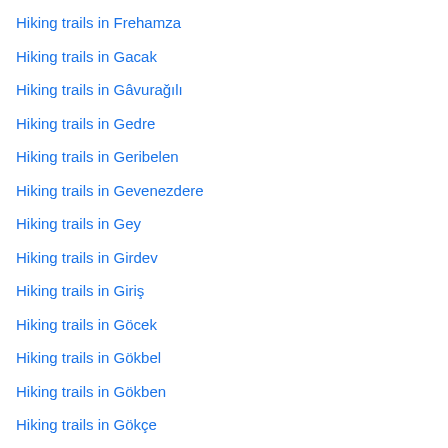Hiking trails in Frehamza
Hiking trails in Gacak
Hiking trails in Gâvurağılı
Hiking trails in Gedre
Hiking trails in Geribelen
Hiking trails in Gevenezdere
Hiking trails in Gey
Hiking trails in Girdev
Hiking trails in Giriş
Hiking trails in Göcek
Hiking trails in Gökbel
Hiking trails in Gökben
Hiking trails in Gökçe